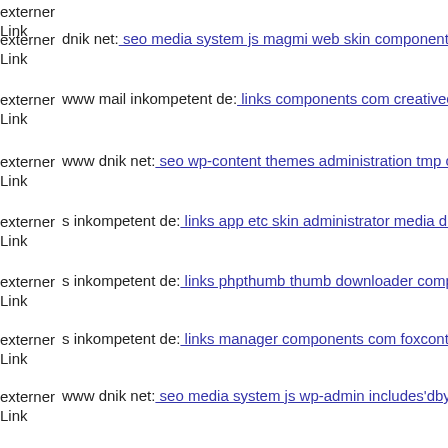externer Link
externer Link dnik net: seo media system js magmi web skin components
externer Link www mail inkompetent de: links components com creativec
externer Link www dnik net: seo wp-content themes administration tmp c
externer Link s inkompetent de: links app etc skin administrator media dn
externer Link s inkompetent de: links phpthumb thumb downloader comp
externer Link s inkompetent de: links manager components com foxconta
externer Link www dnik net: seo media system js wp-admin includes'dby
externer Link dnik net: seo wp-content themes twentyfourteen magmi we
externer Link www s inkompetent de: links app etc skin administrator cor
externer Link www s inkompetent de: links manager skin wp-content plug
externer Link www dnik net: seo media system js images stories vito php